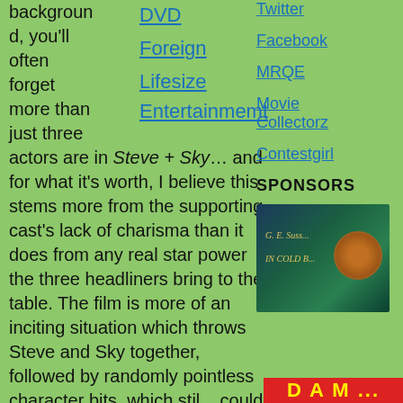background, you'll often forget more than just three actors are in Steve + Sky… and for what it's worth, I believe this stems more from the supporting cast's lack of charisma than it does from any real star power the three headliners bring to the table. The film is more of an inciting situation which throws Steve and Sky together, followed by randomly pointless character bits, which stil... could have
DVD
Foreign
Lifesize Entertainmemt
Twitter
Facebook
MRQE
Movie Collectorz
Contestgirl
SPONSORS
[Figure (photo): Sponsor advertisement image with dark green/teal background, text reading 'G. E. Suss...' and 'IN COLD B...' with a circular brown/orange element]